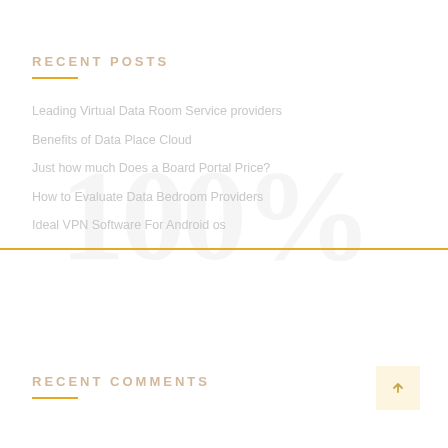RECENT POSTS
Leading Virtual Data Room Service providers
Benefits of Data Place Cloud
Just how much Does a Board Portal Price?
How to Evaluate Data Bedroom Providers
Ideal VPN Software For Android os
RECENT COMMENTS